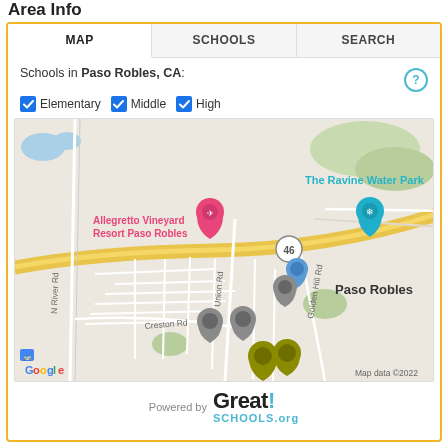Area Info
MAP | SCHOOLS | SEARCH
Schools in Paso Robles, CA:
Elementary  Middle  High
[Figure (map): Google Map showing Paso Robles, CA area with school location pins (gray, blue, olive/yellow) and points of interest including Allegretto Vineyard Resort Paso Robles (pink pin), The Ravine Water Park (teal pin). Roads include N River Rd, Union Rd, Golden Hill Rd, Creston Rd, and highway 46. Map data ©2022.]
Powered by GreatSchools.org